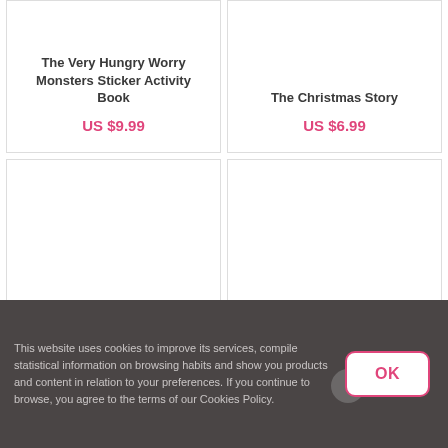The Very Hungry Worry Monsters Sticker Activity Book
US $9.99
The Christmas Story
US $6.99
This website uses cookies to improve its services, compile statistical information on browsing habits and show you products and content in relation to your preferences. If you continue to browse, you agree to the terms of our Cookies Policy.
OK